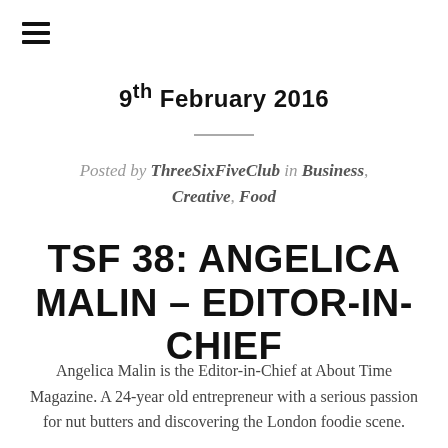☰
9th February 2016
Posted by ThreeSixFiveClub in Business, Creative, Food
TSF 38: ANGELICA MALIN – EDITOR-IN-CHIEF
Angelica Malin is the Editor-in-Chief at About Time Magazine. A 24-year old entrepreneur with a serious passion for nut butters and discovering the London foodie scene.